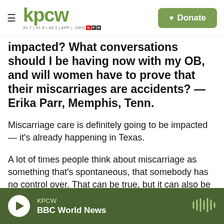KPCW — Donate
impacted? What conversations should I be having now with my OB, and will women have to prove that their miscarriages are accidents? — Erika Parr, Memphis, Tenn.
Miscarriage care is definitely going to be impacted — it's already happening in Texas.
A lot of times people think about miscarriage as something that's spontaneous, that somebody has no control over. That can be true, but it can also be something that people have to make decisions about. The standard of care for treating a
KPCW — BBC World News